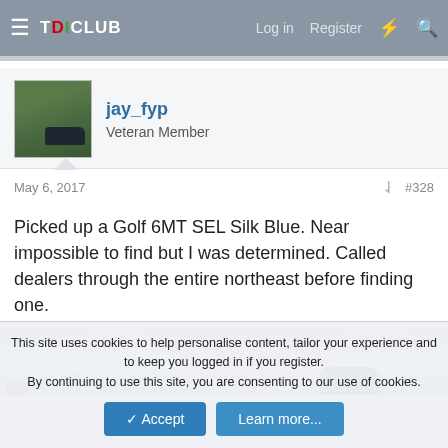TDICLUB  Log in  Register
jay_fyp
Veteran Member
May 6, 2017  #328
Picked up a Golf 6MT SEL Silk Blue. Near impossible to find but I was determined. Called dealers through the entire northeast before finding one.
[Figure (photo): Outdoor photo showing cloudy sky with part of a dark car roof visible at bottom right]
This site uses cookies to help personalise content, tailor your experience and to keep you logged in if you register.
By continuing to use this site, you are consenting to our use of cookies.